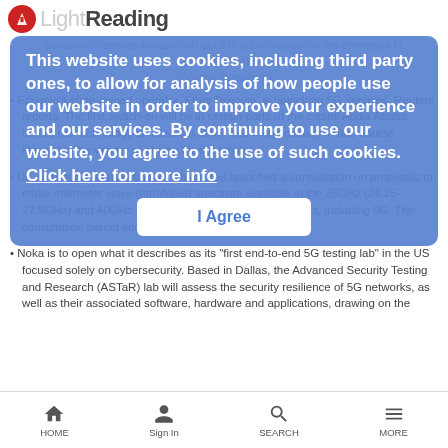LightReading
Swisscom believes Amazon will put it in prime position in the enterprise IT services market. (Source Swisscom)
Ethiopia's state-owned operator, Ethio Telecom, is launching 5G services, Reuters reports. The first switch-on will be in certain parts of the capital Addis Ababa, before the technology is rolled out to the rest of the country in due course. Huawei is the vendor of choice for the project.
UK communications regulator Ofcom has launched a consultation on proposals to make millimeter wave (mmWave) spectrum available in the 26GHz (24.25-27.5GHz) and 40GHz (40.5-43.5GHz) bands for new uses, including 5G. The consultation period ends on July 18.
Noka is to open what it describes as its "first end-to-end 5G testing lab" in the US focused solely on cybersecurity. Based in Dallas, the Advanced Security Testing and Research (ASTaR) lab will assess the security resilience of 5G networks, as well as their associated software, hardware and applications, drawing on the
This website uses cookies, including third party ones, to allow for analysis of how people use our website in order to improve your experience and our services. By continuing to use our website, you agree to the use of such cookies. Click here for more info
HOME  Sign In  SEARCH  MORE